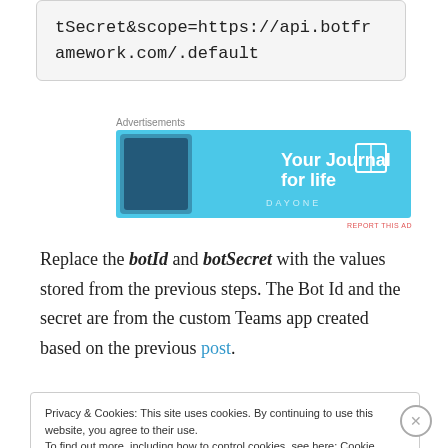tSecret&scope=https://api.botframework.com/.default
[Figure (screenshot): Advertisement banner for Day One 'Your Journal for life' app showing a phone mockup on a light blue background]
Replace the botId and botSecret with the values stored from the previous steps. The Bot Id and the secret are from the custom Teams app created based on the previous post.
Privacy & Cookies: This site uses cookies. By continuing to use this website, you agree to their use.
To find out more, including how to control cookies, see here: Cookie Policy
Close and accept